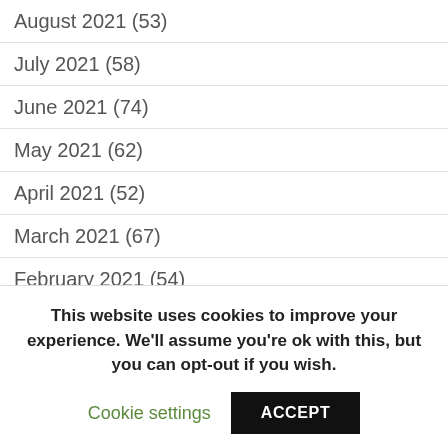August 2021 (53)
July 2021 (58)
June 2021 (74)
May 2021 (62)
April 2021 (52)
March 2021 (67)
February 2021 (54)
January 2021 (51)
December 2020 (61)
November 2020 (64)
October 2020 (106)
September 2020 (88)
This website uses cookies to improve your experience. We'll assume you're ok with this, but you can opt-out if you wish.
Cookie settings
ACCEPT